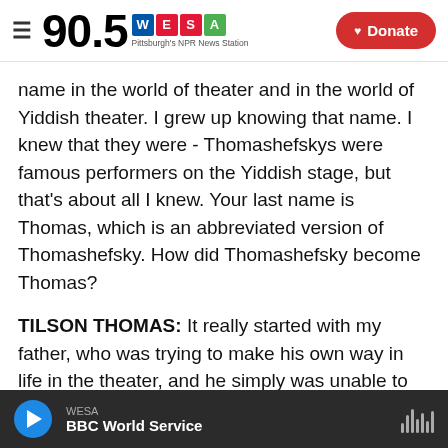90.5 WESA — Pittsburgh's NPR News Station | Donate
name in the world of theater and in the world of Yiddish theater. I grew up knowing that name. I knew that they were - Thomashefskys were famous performers on the Yiddish stage, but that's about all I knew. Your last name is Thomas, which is an abbreviated version of Thomashefsky. How did Thomashefsky become Thomas?
TILSON THOMAS: It really started with my father, who was trying to make his own way in life in the theater, and he simply was unable to do that. Everywhere that he went, he would mention his last name, and right away, it was, oh, you're Boris
WESA — BBC World Service